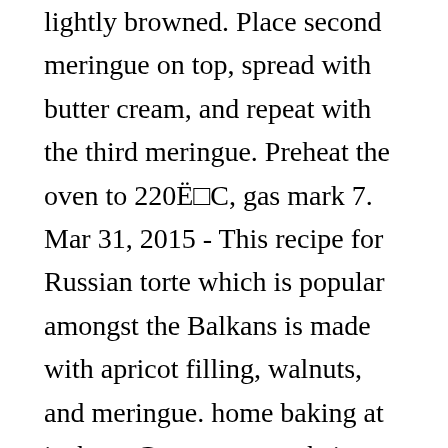lightly browned. Place second meringue on top, spread with butter cream, and repeat with the third meringue. Preheat the oven to 220Ë□C, gas mark 7. Mar 31, 2015 - This recipe for Russian torte which is popular amongst the Balkans is made with apricot filling, walnuts, and meringue. home baking at its best. Create your website today. This apricot version starts with a press-in crust that has ground almonds to complement the fruit. Related articles. Spread the apricot preserves on top of the second layer of dough. Add the